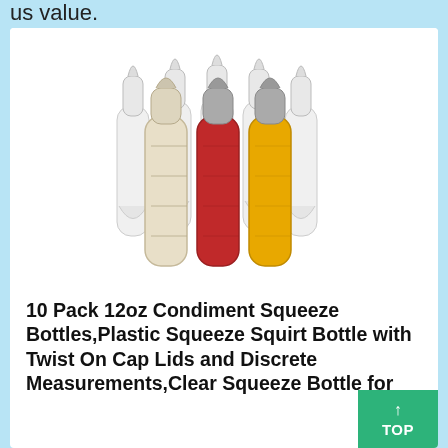us value.
[Figure (photo): Group of clear plastic squeeze bottles with twist-on caps. Three front bottles are filled with white/cream, red, and yellow condiments respectively. Multiple clear empty bottles stand behind them.]
10 Pack 12oz Condiment Squeeze Bottles,Plastic Squeeze Squirt Bottle with Twist On Cap Lids and Discrete Measurements,Clear Squeeze Bottle for